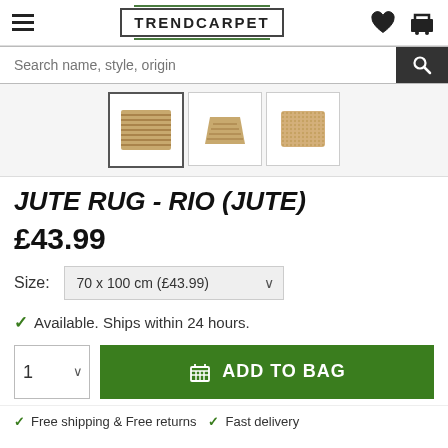TRENDCARPET
Search name, style, origin
[Figure (photo): Three thumbnail images of jute rugs - Rio (Jute) product]
JUTE RUG - RIO (JUTE)
£43.99
Size: 70 x 100 cm (£43.99)
Available. Ships within 24 hours.
ADD TO BAG
Free shipping & Free returns  Fast delivery